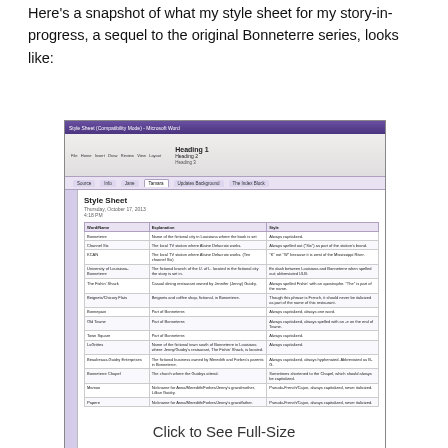Here's a snapshot of what my style sheet for my story-in-progress, a sequel to the original Bonneterre series, looks like:
[Figure (screenshot): Screenshot of a Microsoft Word document showing a Style Sheet table with columns Word/Name, Explanation, and Style. Rows include entries for Bonneterre, Channel Six, KCAN, University of Louisiana-Bonneterre, The Fishin' Shack, Beignets/Chicory Flats, Bonnepain, Old Towne, Town Square, LaGrittes, Beaulreaux-Guidry Enterprises, Bonneterre Chapel, Maman, and Papere.]
Click to See Full-Size